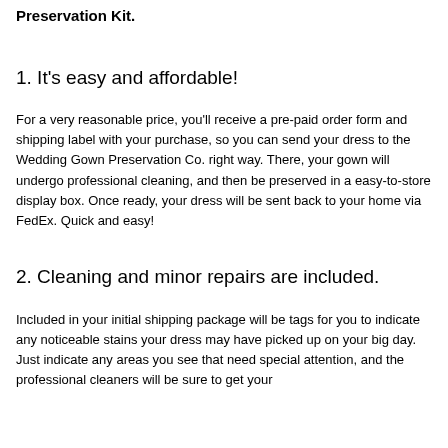Preservation Kit.
1. It's easy and affordable!
For a very reasonable price, you'll receive a pre-paid order form and shipping label with your purchase, so you can send your dress to the Wedding Gown Preservation Co. right way. There, your gown will undergo professional cleaning, and then be preserved in a easy-to-store display box. Once ready, your dress will be sent back to your home via FedEx. Quick and easy!
2. Cleaning and minor repairs are included.
Included in your initial shipping package will be tags for you to indicate any noticeable stains your dress may have picked up on your big day. Just indicate any areas you see that need special attention, and the professional cleaners will be sure to get your gown back to its best condition. They even will be able to do...